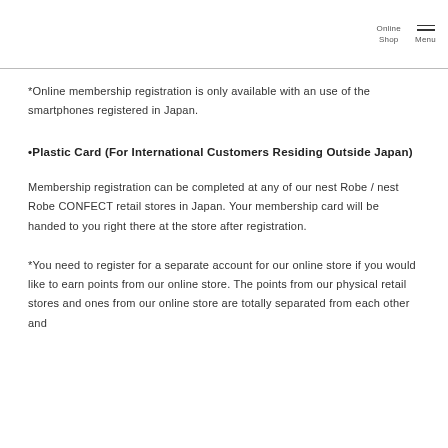Online Shop  Menu
*Online membership registration is only available with an use of the smartphones registered in Japan.
•Plastic Card (For International Customers Residing Outside Japan)
Membership registration can be completed at any of our nest Robe / nest Robe CONFECT retail stores in Japan. Your membership card will be handed to you right there at the store after registration.
*You need to register for a separate account for our online store if you would like to earn points from our online store. The points from our physical retail stores and ones from our online store are totally separated from each other and